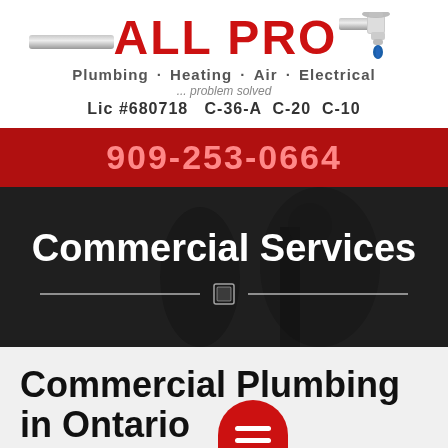[Figure (logo): All Pro Plumbing Heating Air Electrical logo with red bold text, pipe graphic, and faucet icon]
Plumbing · Heating · Air · Electrical
... problem solved
Lic #680718   C-36-A   C-20   C-10
909-253-0664
Commercial Services
Commercial Plumbing in Ontario